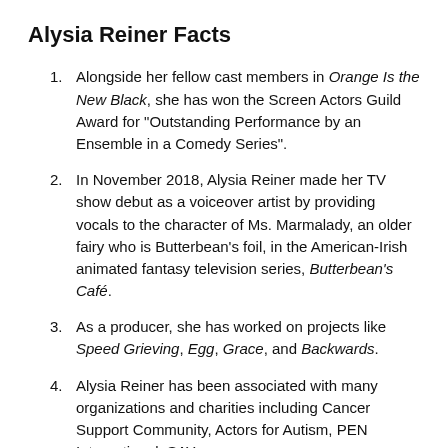Alysia Reiner Facts
Alongside her fellow cast members in Orange Is the New Black, she has won the Screen Actors Guild Award for “Outstanding Performance by an Ensemble in a Comedy Series”.
In November 2018, Alysia Reiner made her TV show debut as a voiceover artist by providing vocals to the character of Ms. Marmalady, an older fairy who is Butterbean’s foil, in the American-Irish animated fantasy television series, Butterbean’s Café.
As a producer, she has worked on projects like Speed Grieving, Egg, Grace, and Backwards.
Alysia Reiner has been associated with many organizations and charities including Cancer Support Community, Actors for Autism, PEN International, SAY: